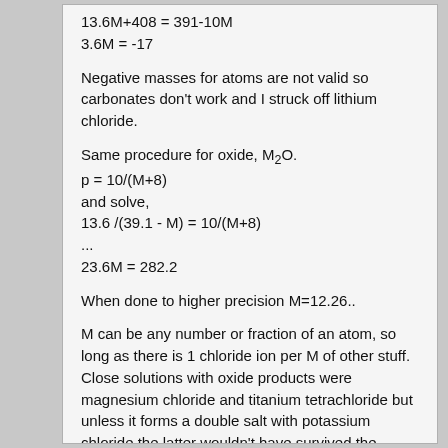Negative masses for atoms are not valid so carbonates don't work and I struck off lithium chloride.
Same procedure for oxide, M₂O.
and solve,
...
When done to higher precision M=12.26..
M can be any number or fraction of an atom, so long as there is 1 chloride ion per M of other stuff.  Close solutions with oxide products were magnesium chloride and titanium tetrachloride but unless it forms a double salt with potassium chloride the latter wouldn't have survived the roasting in air/chlorine part.  Aluminium trichloride does do this I think incidentally but the mass's weigh off. 🙂
After picking magnesium, it's atomic mass per chloride then